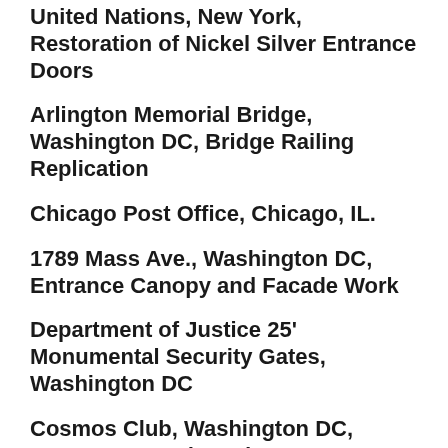United Nations, New York, Restoration of Nickel Silver Entrance Doors
Arlington Memorial Bridge, Washington DC, Bridge Railing Replication
Chicago Post Office, Chicago, IL.
1789 Mass Ave., Washington DC, Entrance Canopy and Facade Work
Department of Justice 25' Monumental Security Gates, Washington DC
Cosmos Club, Washington DC, Entrance Facade and Canopy